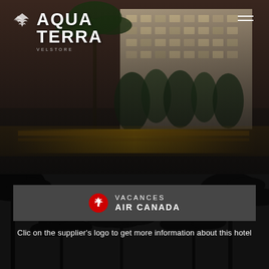[Figure (photo): Hotel exterior photo with palm trees and illuminated pool area at dusk, with Aqua Terra logo overlaid in top left and hamburger menu icon top right]
AQUA TERRA
[Figure (logo): Vacances Air Canada logo with red maple leaf circle icon, text reads VACANCES AIR CANADA]
Clic on the supplier's logo to get more information about this hotel